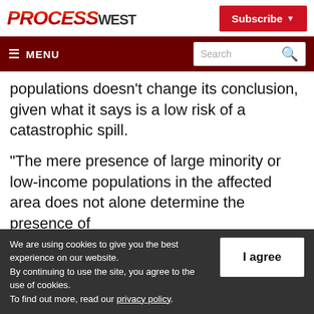PROCESS WEST | Subscribe
≡ MENU | Search
…populations doesn't change its conclusion, given what it says is a low risk of a catastrophic spill.
“The mere presence of large minority or low-income populations in the affected area does not alone determine the presence of
We are using cookies to give you the best experience on our website. By continuing to use the site, you agree to the use of cookies. To find out more, read our privacy policy.